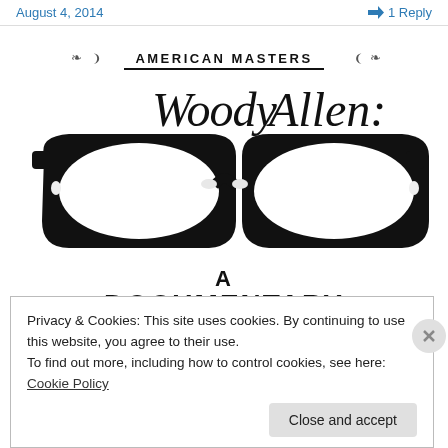August 4, 2014   1 Reply
[Figure (illustration): American Masters logo with decorative swirls and underline, followed by an illustration of thick black-rimmed glasses with the text 'Woody Allen: A Documentary' integrated into the design]
Privacy & Cookies: This site uses cookies. By continuing to use this website, you agree to their use.
To find out more, including how to control cookies, see here: Cookie Policy
Close and accept